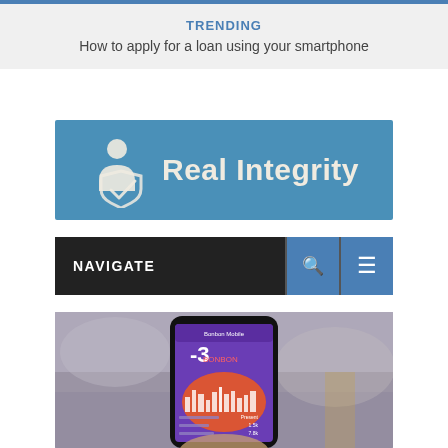TRENDING
How to apply for a loan using your smartphone
[Figure (logo): Real Integrity logo with person and shield icon on blue background]
[Figure (screenshot): Navigation bar with NAVIGATE label and search/menu buttons on dark background]
[Figure (photo): Hand holding smartphone displaying a mobile banking/financial app with purple UI showing Bonbon Mobile interface]